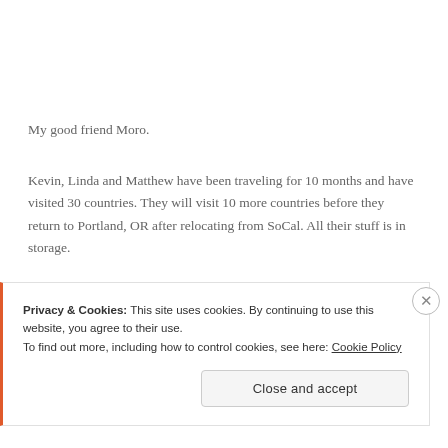My good friend Moro.
Kevin, Linda and Matthew have been traveling for 10 months and have visited 30 countries. They will visit 10 more countries before they return to Portland, OR after relocating from SoCal. All their stuff is in storage.
Privacy & Cookies: This site uses cookies. By continuing to use this website, you agree to their use.
To find out more, including how to control cookies, see here: Cookie Policy
Close and accept